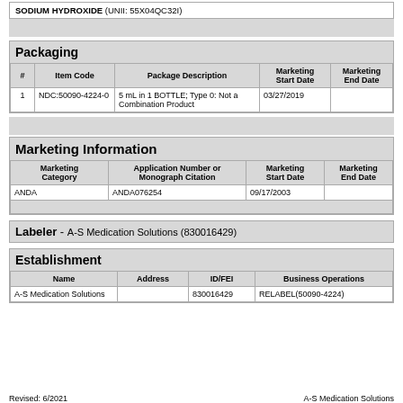| SODIUM HYDROXIDE (UNII: 55X04QC32I) |  |
Packaging
| # | Item Code | Package Description | Marketing Start Date | Marketing End Date |
| --- | --- | --- | --- | --- |
| 1 | NDC:50090-4224-0 | 5 mL in 1 BOTTLE; Type 0: Not a Combination Product | 03/27/2019 |  |
Marketing Information
| Marketing Category | Application Number or Monograph Citation | Marketing Start Date | Marketing End Date |
| --- | --- | --- | --- |
| ANDA | ANDA076254 | 09/17/2003 |  |
Labeler - A-S Medication Solutions (830016429)
Establishment
| Name | Address | ID/FEI | Business Operations |
| --- | --- | --- | --- |
| A-S Medication Solutions |  | 830016429 | RELABEL(50090-4224) |
Revised: 6/2021   A-S Medication Solutions